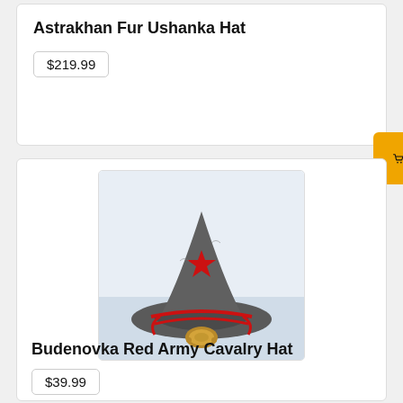Astrakhan Fur Ushanka Hat
$219.99
Buy Now
[Figure (photo): A Budenovka Red Army Cavalry Hat made of grey felt with a pointed top and red star emblem, with red trim and brass chin strap hardware, displayed on a white/light blue background.]
Budenovka Red Army Cavalry Hat
$39.99